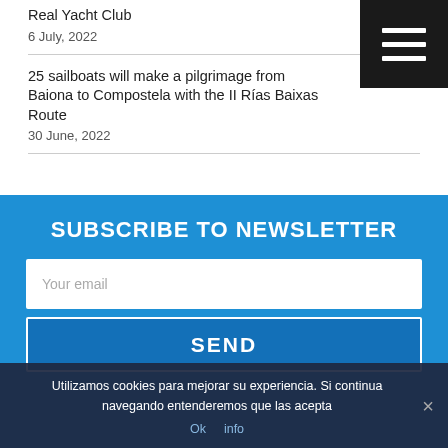Real Yacht Club
6 July, 2022
25 sailboats will make a pilgrimage from Baiona to Compostela with the II Rías Baixas Route
30 June, 2022
SUBSCRIBE TO NEWSLETTER
Your email
SEND
Utilizamos cookies para mejorar su experiencia. Si continua navegando entenderemos que las acepta
Ok   info